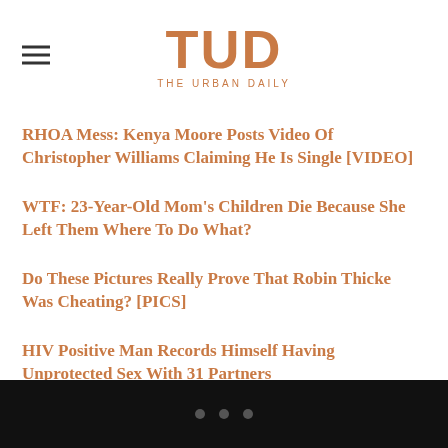TUD THE URBAN DAILY
RHOA Mess: Kenya Moore Posts Video Of Christopher Williams Claiming He Is Single [VIDEO]
WTF: 23-Year-Old Mom's Children Die Because She Left Them Where To Do What?
Do These Pictures Really Prove That Robin Thicke Was Cheating? [PICS]
HIV Positive Man Records Himself Having Unprotected Sex With 31 Partners
Wendy Williams Breaks Down In Tears And Reads Madonna Simultaneously [VIDEO]
• • •